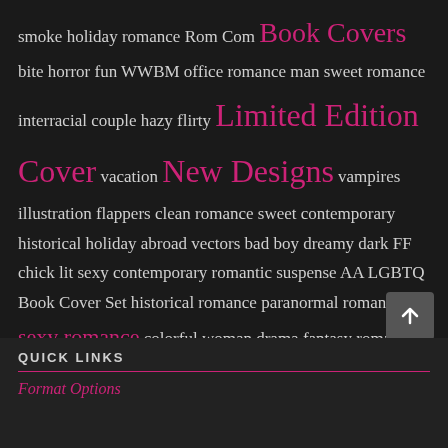smoke holiday romance Rom Com Book Covers bite horror fun WWBM office romance man sweet romance interracial couple hazy flirty Limited Edition Cover vacation New Designs vampires illustration flappers clean romance sweet contemporary historical holiday abroad vectors bad boy dreamy dark FF chick lit sexy contemporary romantic suspense AA LGBTQ Book Cover Set historical romance paranormal romance sexy romance colorful woman drama fantasy romance summer romance contemporary romance rom-com
QUICK LINKS
Format Options